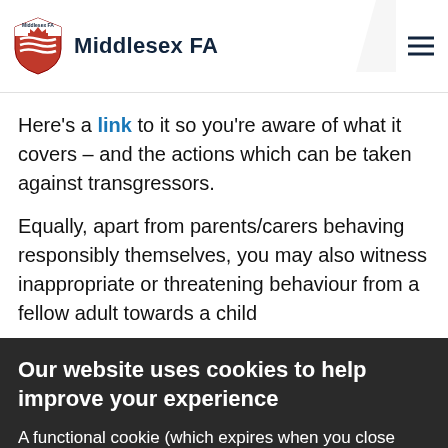Middlesex FA
Here's a link to it so you're aware of what it covers – and the actions which can be taken against transgressors.
Equally, apart from parents/carers behaving responsibly themselves, you may also witness inappropriate or threatening behaviour from a fellow adult towards a child
Our website uses cookies to help improve your experience
A functional cookie (which expires when you close your browser) has already been placed on your machine. More details
ACCEPT COOKIES